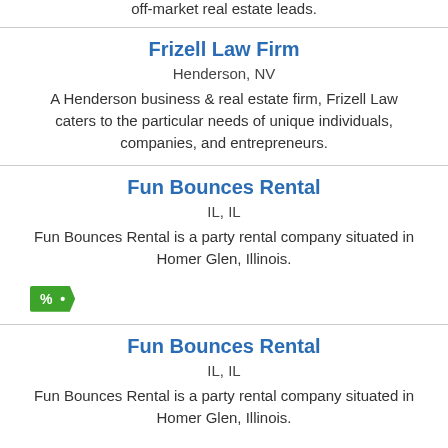off-market real estate leads.
Frizell Law Firm
Henderson, NV
A Henderson business & real estate firm, Frizell Law caters to the particular needs of unique individuals, companies, and entrepreneurs.
Fun Bounces Rental
IL, IL
Fun Bounces Rental is a party rental company situated in Homer Glen, Illinois.
[Figure (other): Green tag/badge icon with percent symbol and dot]
Fun Bounces Rental
IL, IL
Fun Bounces Rental is a party rental company situated in Homer Glen, Illinois.